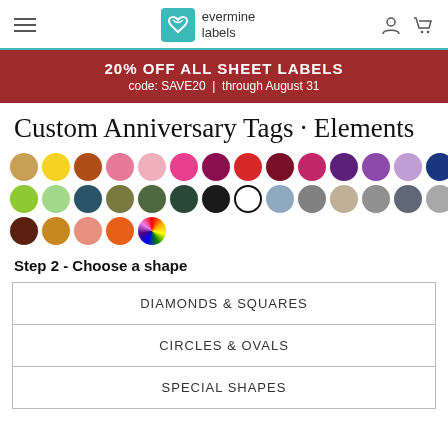evermine labels
20% OFF ALL SHEET LABELS code: SAVE20 | through August 31
Custom Anniversary Tags · Elements
[Figure (infographic): Color swatch palette showing 3 rows of colored circles: tan, yellow, brown, pink, light pink, hot pink, dark magenta, red, dark red/maroon, dark pink, purple, lavender, light purple, navy, light yellow-green, teal; then lime green, light green, dark teal, olive, dark green, forest green, black, white (outline), light blue-gray, gray, tan-gray, dark gray, slate, light gray, brown-gold, tan-dark; then brown, gold/amber, salmon, orange, rainbow]
Step 2 - Choose a shape
| DIAMONDS & SQUARES |
| CIRCLES & OVALS |
| SPECIAL SHAPES |